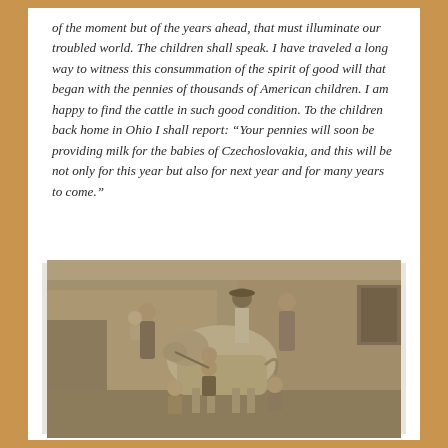of the moment but of the years ahead, that must illuminate our troubled world. The children shall speak. I have traveled a long way to witness this consummation of the spirit of good will that began with the pennies of thousands of American children. I am happy to find the cattle in such good condition. To the children back home in Ohio I shall report: "Your pennies will soon be providing milk for the babies of Czechoslovakia, and this will be not only for this year but also for next year and for many years to come."
[Figure (photo): A sepia-toned black and white photograph of a family group with a cow. Multiple adults and children are gathered outdoors near a building. A woman holds a baby, and children sit in front. A man wearing a hat stands in the background.]